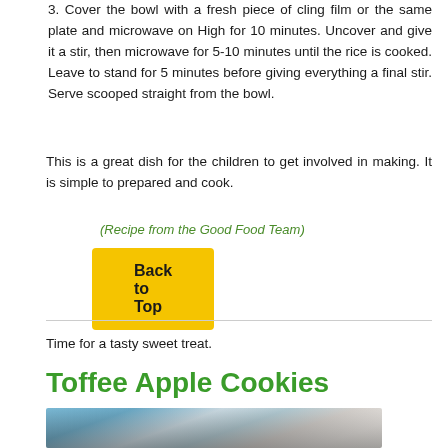3. Cover the bowl with a fresh piece of cling film or the same plate and microwave on High for 10 minutes. Uncover and give it a stir, then microwave for 5-10 minutes until the rice is cooked. Leave to stand for 5 minutes before giving everything a final stir. Serve scooped straight from the bowl.
This is a great dish for the children to get involved in making. It is simple to prepared and cook.
(Recipe from the Good Food Team)
Back to Top
Time for a tasty sweet treat.
Toffee Apple Cookies
[Figure (photo): Photo of cookies or baking items with cups/glasses visible, dark background with baking tools]